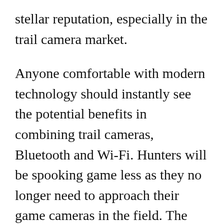stellar reputation, especially in the trail camera market.

Anyone comfortable with modern technology should instantly see the potential benefits in combining trail cameras, Bluetooth and Wi-Fi. Hunters will be spooking game less as they no longer need to approach their game cameras in the field. The homeowner can expect to reach for the ladder less often, as game cameras usually get placed in inaccessible locations to prevent theft. The ability to live-monitor the goings on near the camera are another positive. Until now